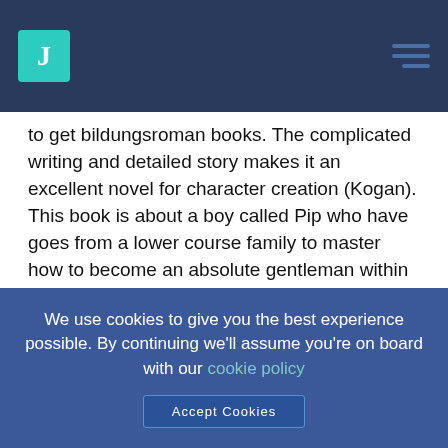J [logo]
to get bildungsroman books. The complicated writing and detailed story makes it an excellent novel for character creation (Kogan). This book is about a boy called Pip who have goes from a lower course family to master how to become an absolute gentleman within a high end The english language family. Pip meets practically sixty people along his journey, and learns via everyone. The characters this individual meet are very interesting because some of them he learns via in a positive way, yet others in a adverse.
Dickens centered on peers rather than setting and love, even though both perform there particular parts through this book. Placing is shown when different the poor life-
We use cookies to give you the best experience possible. By continuing we'll assume you're on board with our cookie policy
Accept Cookies